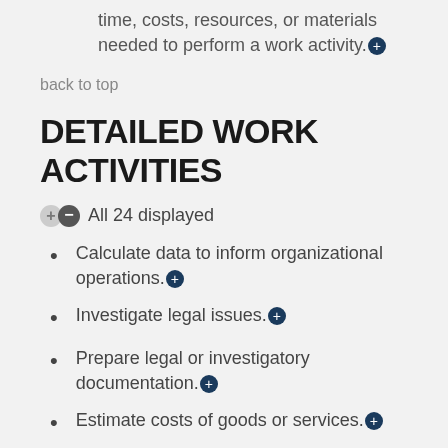time, costs, resources, or materials needed to perform a work activity.
back to top
DETAILED WORK ACTIVITIES
All 24 displayed
Calculate data to inform organizational operations.
Investigate legal issues.
Prepare legal or investigatory documentation.
Estimate costs of goods or services.